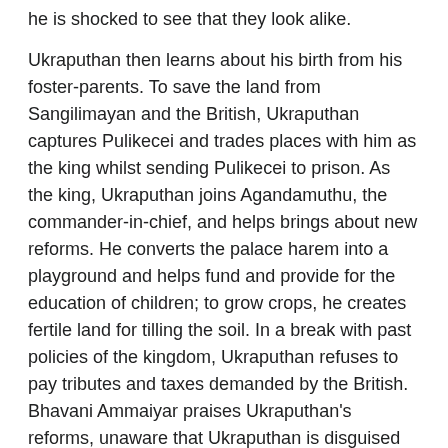he is shocked to see that they look alike.
Ukraputhan then learns about his birth from his foster-parents. To save the land from Sangilimayan and the British, Ukraputhan captures Pulikecei and trades places with him as the king whilst sending Pulikecei to prison. As the king, Ukraputhan joins Agandamuthu, the commander-in-chief, and helps brings about new reforms. He converts the palace harem into a playground and helps fund and provide for the education of children; to grow crops, he creates fertile land for tilling the soil. In a break with past policies of the kingdom, Ukraputhan refuses to pay tributes and taxes demanded by the British. Bhavani Ammaiyar praises Ukraputhan's reforms, unaware that Ukraputhan is disguised as Pulikecei. In jail, Pulikecei is taken care of by Soolayini, who provides refreshments to the soldiers. Eventually, the two fall in love.
All of this happens while Sangilimayan is away on a business trip visiting British officers in Chennaipattinam. When he learns of the new reforms, he confronts Ukraputhan, who defies him. Later, Pulikecei escapes from prison and overhears a conversation between Ukraputhan, Agandamuthu and Chinnavadayaan. Pulikecei learns the truth about his birth and confronts the trio. He